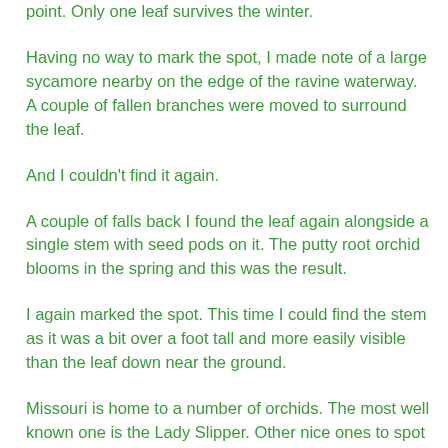point. Only one leaf survives the winter.
Having no way to mark the spot, I made note of a large sycamore nearby on the edge of the ravine waterway. A couple of fallen branches were moved to surround the leaf.
And I couldn't find it again.
A couple of falls back I found the leaf again alongside a single stem with seed pods on it. The putty root orchid blooms in the spring and this was the result.
I again marked the spot. This time I could find the stem as it was a bit over a foot tall and more easily visible than the leaf down near the ground.
Missouri is home to a number of orchids. The most well known one is the Lady Slipper. Other nice ones to spot are the Lady's Tresses with their small, white flowers spiraling